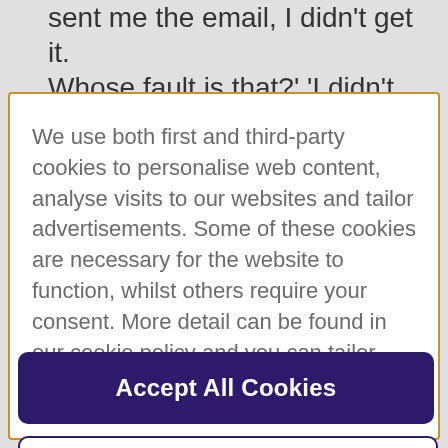sent me the email, I didn't get it. Whose fault is that?' 'I didn't get it' is
We use both first and third-party cookies to personalise web content, analyse visits to our websites and tailor advertisements. Some of these cookies are necessary for the website to function, whilst others require your consent. More detail can be found in our cookie policy and you can tailor your choices in the preference centre.
Accept All Cookies
Cookies Settings